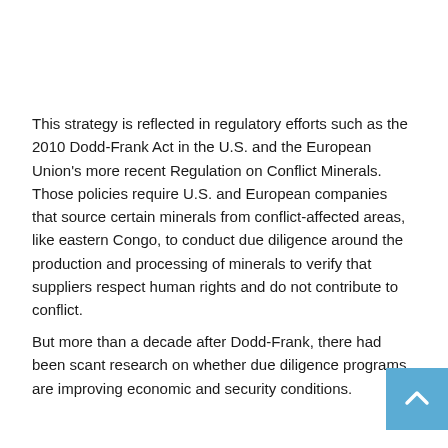This strategy is reflected in regulatory efforts such as the 2010 Dodd-Frank Act in the U.S. and the European Union's more recent Regulation on Conflict Minerals. Those policies require U.S. and European companies that source certain minerals from conflict-affected areas, like eastern Congo, to conduct due diligence around the production and processing of minerals to verify that suppliers respect human rights and do not contribute to conflict.
But more than a decade after Dodd-Frank, there had been scant research on whether due diligence programs are improving economic and security conditions.